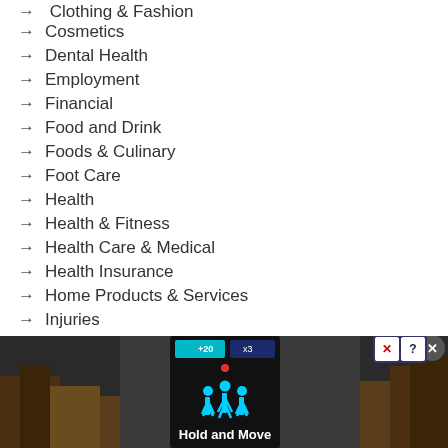→ Clothing & Fashion (partial, cropped at top)
→ Cosmetics
→ Dental Health
→ Employment
→ Financial
→ Food and Drink
→ Foods & Culinary
→ Foot Care
→ Health
→ Health & Fitness
→ Health Care & Medical
→ Health Insurance
→ Home Products & Services
→ Injuries
→ Internet Services
→ Mens Health
[Figure (screenshot): Advertisement banner showing 'Hold and Move' app/game with blue figure icons on a dark background, outdoor trees visible, with close button and controls in top right corner.]